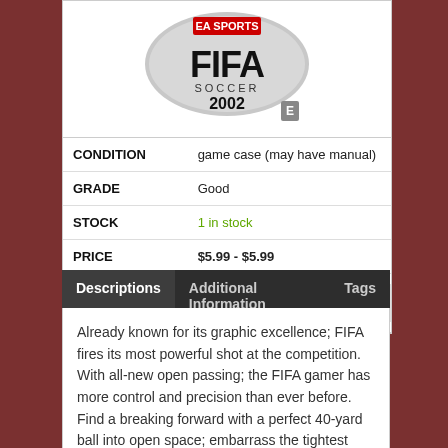[Figure (photo): FIFA Soccer 2002 game box art — EA Sports logo at top, FIFA Soccer 2002 text, rated E]
| CONDITION | game case (may have manual) |
| GRADE | Good |
| STOCK | 1 in stock |
| PRICE | $5.99 - $5.99 |
1
ADD TO CART
Descriptions  Additional Information  Tags
Already known for its graphic excellence; FIFA fires its most powerful shot at the competition. With all-new open passing; the FIFA gamer has more control and precision than ever before. Find a breaking forward with a perfect 40-yard ball into open space; embarrass the tightest defense with cunning one-twos or fool any keeper with deep swerving crosses.